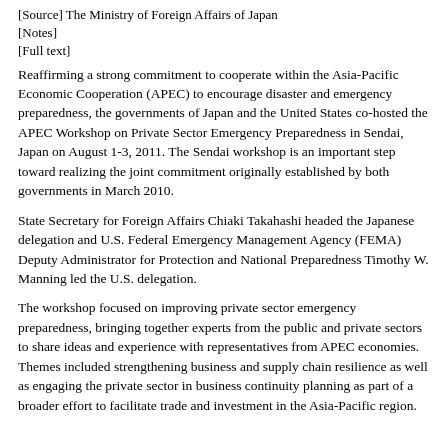[Source] The Ministry of Foreign Affairs of Japan
[Notes]
[Full text]
Reaffirming a strong commitment to cooperate within the Asia-Pacific Economic Cooperation (APEC) to encourage disaster and emergency preparedness, the governments of Japan and the United States co-hosted the APEC Workshop on Private Sector Emergency Preparedness in Sendai, Japan on August 1-3, 2011. The Sendai workshop is an important step toward realizing the joint commitment originally established by both governments in March 2010.
State Secretary for Foreign Affairs Chiaki Takahashi headed the Japanese delegation and U.S. Federal Emergency Management Agency (FEMA) Deputy Administrator for Protection and National Preparedness Timothy W. Manning led the U.S. delegation.
The workshop focused on improving private sector emergency preparedness, bringing together experts from the public and private sectors to share ideas and experience with representatives from APEC economies. Themes included strengthening business and supply chain resilience as well as engaging the private sector in business continuity planning as part of a broader effort to facilitate trade and investment in the Asia-Pacific region.